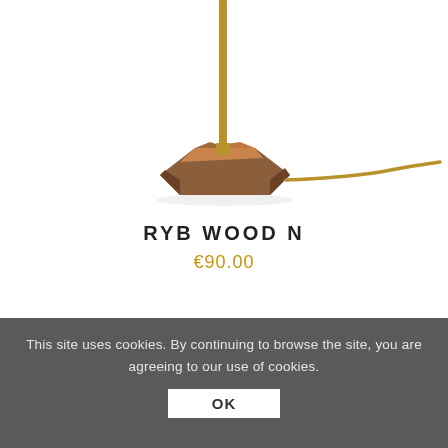[Figure (photo): Product photo of a lamp with a brass/gold metal rod stem and faceted walnut wood base, with a brass cable extending to the right. White background. Only the lower portion of the lamp (base and lower stem) is visible.]
RYB WOOD N
€90.00
[Figure (photo): Partial view of a second product (lamp with round light element), mostly obscured by the cookie consent overlay.]
This site uses cookies. By continuing to browse the site, you are agreeing to our use of cookies.
OK